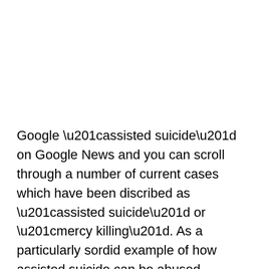Google “assisted suicide” on Google News and you can scroll through a number of current cases which have been discribed as “assisted suicide” or “mercy killing”. As a particularly sordid example of how assisted suicide can be abused, consider the case of Gerard Curran and Paul Stephen Bricker, two American sailors living in Virginia. The 45-year-old Curran was separated from his wife and drinking heavily. He wanted to commit suicide, but he also